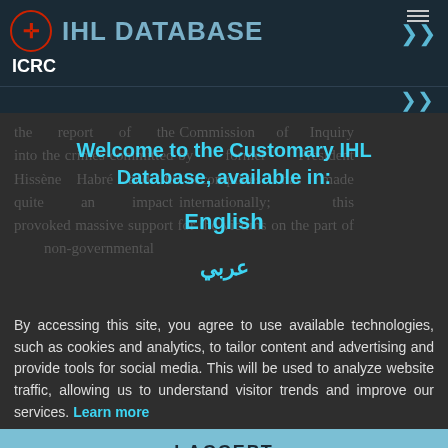IHL DATABASE  ICRC
[Figure (screenshot): ICRC IHL Database website screenshot with Welcome to the Customary IHL Database overlay modal showing English and Arabic language options]
the report of the Commission of Inquiry into the crimes committed by former President Hissène Habré and his accomplices has made quite an impact internationally; this provoked massive support for the victims on the part of non-governmental
Welcome to the Customary IHL Database, available in:
English
عربي
By accessing this site, you agree to use available technologies, such as cookies and analytics, to tailor content and advertising and provide tools for social media. This will be used to analyze website traffic, allowing us to understand visitor trends and improve our services. Learn more
I ACCEPT